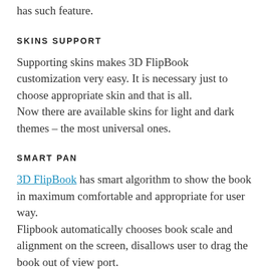has such feature.
SKINS SUPPORT
Supporting skins makes 3D FlipBook customization very easy. It is necessary just to choose appropriate skin and that is all.
Now there are available skins for light and dark themes – the most universal ones.
SMART PAN
3D FlipBook has smart algorithm to show the book in maximum comfortable and appropriate for user way.
Flipbook automatically chooses book scale and alignment on the screen, disallows user to drag the book out of view port.
The pan makes only smooth moves that seems very friendly for user. All those abilities help the book to